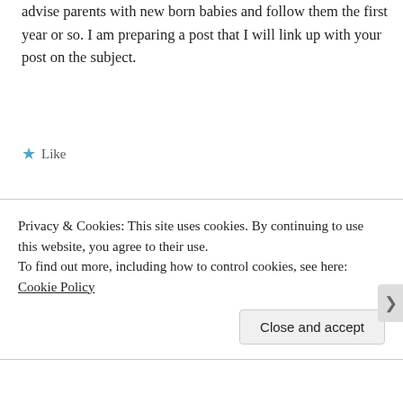advise parents with new born babies and follow them the first year or so. I am preparing a post that I will link up with your post on the subject.
Like
Dana | November 20, 2015 at 11:03 pm
Thank you so much Maria, though I'm sorry to hear you had depression after your first child. But how wonderful that your job has been to help other women through the transition into
Privacy & Cookies: This site uses cookies. By continuing to use this website, you agree to their use.
To find out more, including how to control cookies, see here: Cookie Policy
Close and accept